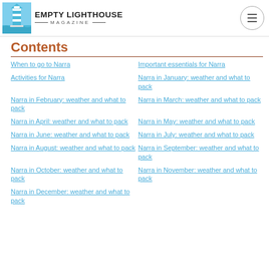EMPTY LIGHTHOUSE MAGAZINE
Contents
When to go to Narra
Important essentials for Narra
Activities for Narra
Narra in January: weather and what to pack
Narra in February: weather and what to pack
Narra in March: weather and what to pack
Narra in April: weather and what to pack
Narra in May: weather and what to pack
Narra in June: weather and what to pack
Narra in July: weather and what to pack
Narra in August: weather and what to pack
Narra in September: weather and what to pack
Narra in October: weather and what to pack
Narra in November: weather and what to pack
Narra in December: weather and what to pack